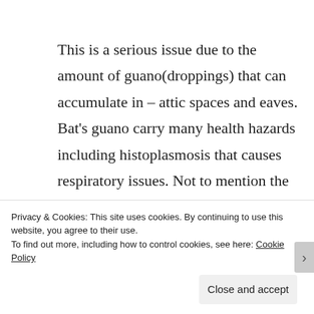This is a serious issue due to the amount of guano(droppings) that can accumulate in – attic spaces and eaves. Bat's guano carry many health hazards including histoplasmosis that causes respiratory issues. Not to mention the weight of the accumulated
Privacy & Cookies: This site uses cookies. By continuing to use this website, you agree to their use.
To find out more, including how to control cookies, see here: Cookie Policy
Close and accept